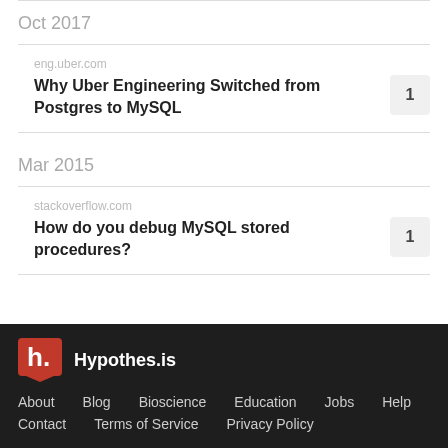Oct 2017
eng.uber.com
Why Uber Engineering Switched from Postgres to MySQL
Mar 2015
stackoverflow.com
How do you debug MySQL stored procedures?
Hypothes.is  About  Blog  Bioscience  Education  Jobs  Help  Contact  Terms of Service  Privacy Policy